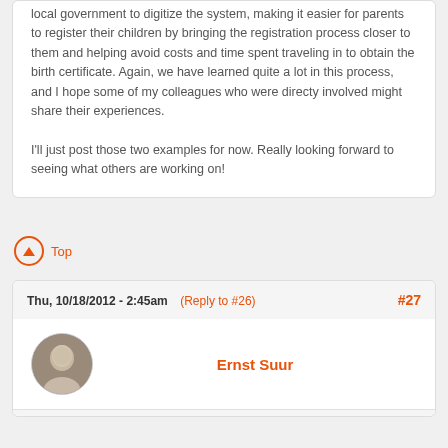local government to digitize the system, making it easier for parents to register their children by bringing the registration process closer to them and helping avoid costs and time spent traveling in to obtain the birth certificate. Again, we have learned quite a lot in this process, and I hope some of my colleagues who were directy involved might share their experiences.

I'll just post those two examples for now. Really looking forward to seeing what others are working on!
Top
Thu, 10/18/2012 - 2:45am (Reply to #26) #27
Ernst Suur